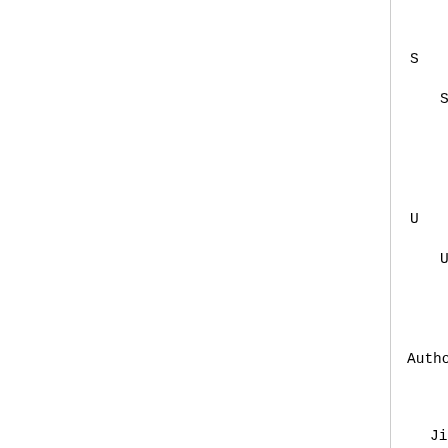S
Server-Maintained Order
U
Unordered Collection 4
Authors' Addresses
Jim Whitehead
UC Santa Cruz, Dept. of Co
1156 High Street
Santa Cruz, CA  95064
US
EMail: ejw@cse.ucsc.edu
Julian F. Reschke, Ed.
greenbytes GmbH
Salzmannstrasse 152